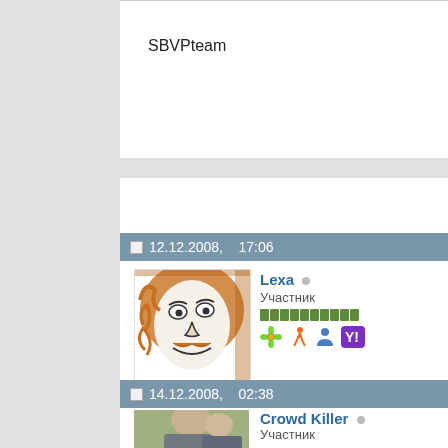SBVPteam
12.12.2008,   17:06
[Figure (illustration): Hand-drawn cartoon face with orange hair and mustache]
Lexa ○ Участник
http://narod.ru/disk/4307585000/FreeTimes.mp4.html
14.12.2008,   02:38
[Figure (photo): Photo of a young person looking down]
Crowd Killer ○ Участник